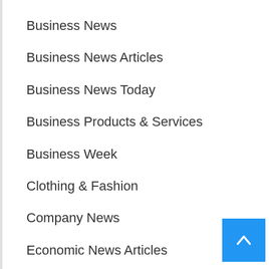Business News
Business News Articles
Business News Today
Business Products & Services
Business Week
Clothing & Fashion
Company News
Economic News Articles
Economic News Today
Employment
Financial
Financial News